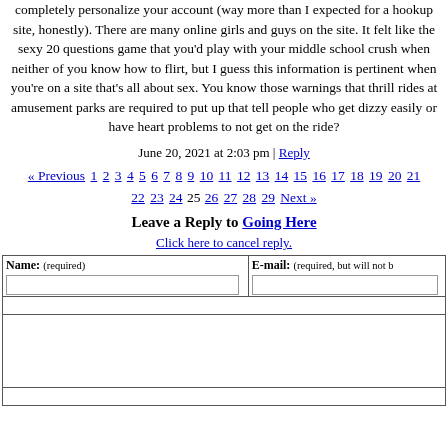completely personalize your account (way more than I expected for a hookup site, honestly). There are many online girls and guys on the site. It felt like the sexy 20 questions game that you'd play with your middle school crush when neither of you know how to flirt, but I guess this information is pertinent when you're on a site that's all about sex. You know those warnings that thrill rides at amusement parks are required to put up that tell people who get dizzy easily or have heart problems to not get on the ride?
June 20, 2021 at 2:03 pm | Reply
« Previous 1 2 3 4 5 6 7 8 9 10 11 12 13 14 15 16 17 18 19 20 21 22 23 24 25 26 27 28 29 Next »
Leave a Reply to Going Here
Click here to cancel reply.
| Name: (required) | E-mail: (required, but will not be published) |
| --- | --- |
|  |  |